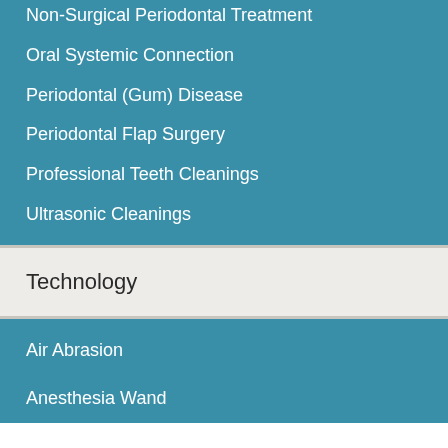Non-Surgical Periodontal Treatment
Oral Systemic Connection
Periodontal (Gum) Disease
Periodontal Flap Surgery
Professional Teeth Cleanings
Ultrasonic Cleanings
Technology
Air Abrasion
Anesthesia Wand